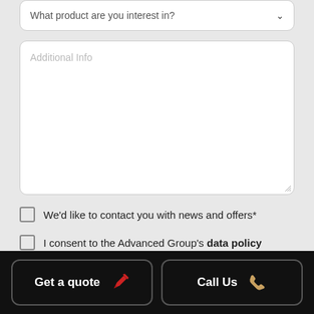What product are you interest in?
Additional Info
We'd like to contact you with news and offers*
I consent to the Advanced Group's data policy
Send now
Get a quote
Call Us